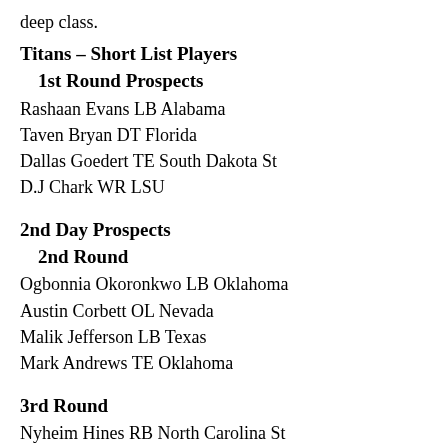deep class.
Titans – Short List Players
1st Round Prospects
Rashaan Evans LB Alabama
Taven Bryan DT Florida
Dallas Goedert TE South Dakota St
D.J Chark WR LSU
2nd Day Prospects
2nd Round
Ogbonnia Okoronkwo LB Oklahoma
Austin Corbett OL Nevada
Malik Jefferson LB Texas
Mark Andrews TE Oklahoma
3rd Round
Nyheim Hines RB North Carolina St